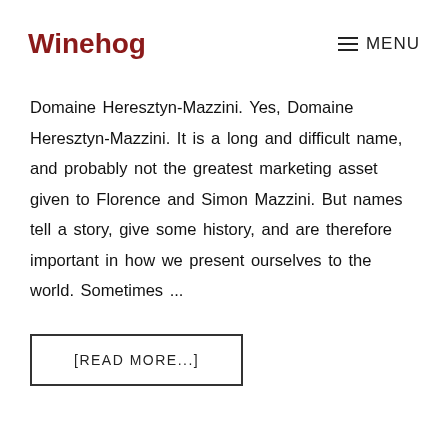Winehog   ≡ MENU
Domaine Heresztyn-Mazzini. Yes, Domaine Heresztyn-Mazzini. It is a long and difficult name, and probably not the greatest marketing asset given to Florence and Simon Mazzini. But names tell a story, give some history, and are therefore important in how we present ourselves to the world. Sometimes ...
[READ MORE...]